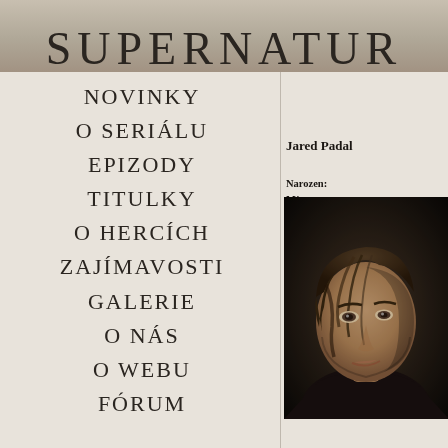SUPERNATUR
NOVINKY
O SERIÁLU
EPIZODY
TITULKY
O HERCÍCH
ZAJÍMAVOSTI
GALERIE
O NÁS
O WEBU
FÓRUM
Jared Padal
Narozen:
Místo nar
[Figure (photo): Portrait photo of a young man with medium-length brown hair, looking slightly to the side, wearing a dark top, against a dark background.]
Jeho nejzn hrál Deana nyní hvězd seriálu hra bratrem, al voskových Michaela D